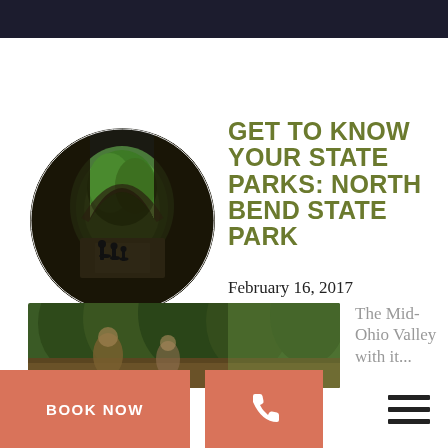[Figure (photo): Circular photo of a stone tunnel/archway looking outward through lush green trees, with silhouettes of people with bicycles on a path]
GET TO KNOW YOUR STATE PARKS: NORTH BEND STATE PARK
February 16, 2017
[Figure (photo): Partial photo showing people outdoors in a forest/park setting]
The Mid-Ohio Valley with it...
BOOK NOW
[Figure (other): Phone icon button]
[Figure (other): Hamburger menu icon (three horizontal lines)]